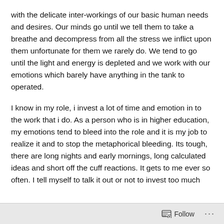with the delicate inter-workings of our basic human needs and desires. Our minds go until we tell them to take a breathe and decompress from all the stress we inflict upon them unfortunate for them we rarely do. We tend to go until the light and energy is depleted and we work with our emotions which barely have anything in the tank to operated.
I know in my role, i invest a lot of time and emotion in to the work that i do. As a person who is in higher education, my emotions tend to bleed into the role and it is my job to realize it and to stop the metaphorical bleeding. Its tough, there are long nights and early mornings, long calculated ideas and short off the cuff reactions. It gets to me ever so often. I tell myself to talk it out or not to invest too much
Follow ···